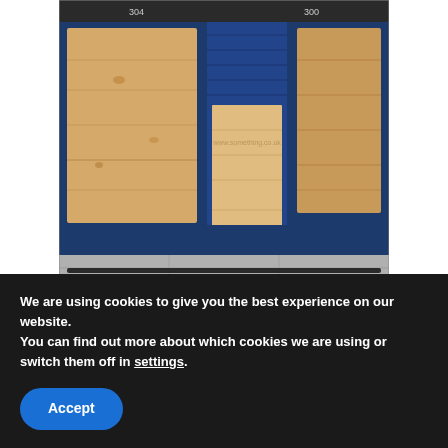[Figure (photo): A boarded-up storefront with plywood covering windows and doors. The facade is painted dark blue. The boards are light wood-colored plywood panels. The scene shows a pavement/sidewalk at the bottom.]
You are sitting in your office

and an associate counsel
We are using cookies to give you the best experience on our website.
You can find out more about which cookies we are using or switch them off in settings.